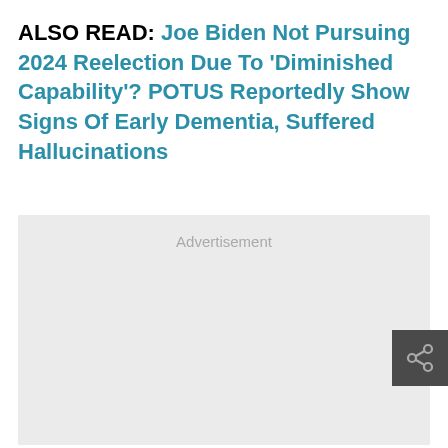ALSO READ: Joe Biden Not Pursuing 2024 Reelection Due To 'Diminished Capability'? POTUS Reportedly Show Signs Of Early Dementia, Suffered Hallucinations
[Figure (other): Advertisement placeholder box with light gray background and 'Advertisement' label text in gray]